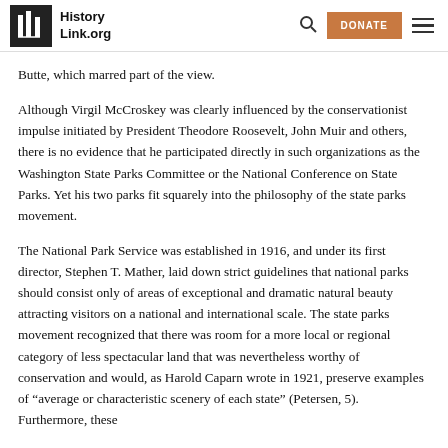HistoryLink.org
Butte, which marred part of the view.
Although Virgil McCroskey was clearly influenced by the conservationist impulse initiated by President Theodore Roosevelt, John Muir and others, there is no evidence that he participated directly in such organizations as the Washington State Parks Committee or the National Conference on State Parks. Yet his two parks fit squarely into the philosophy of the state parks movement.
The National Park Service was established in 1916, and under its first director, Stephen T. Mather, laid down strict guidelines that national parks should consist only of areas of exceptional and dramatic natural beauty attracting visitors on a national and international scale. The state parks movement recognized that there was room for a more local or regional category of less spectacular land that was nevertheless worthy of conservation and would, as Harold Caparn wrote in 1921, preserve examples of “average or characteristic scenery of each state” (Petersen, 5). Furthermore, these